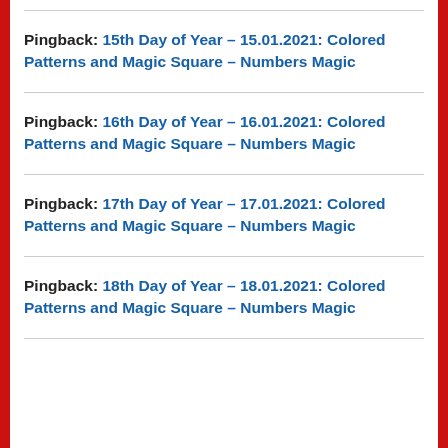Pingback: 15th Day of Year – 15.01.2021: Colored Patterns and Magic Square – Numbers Magic
Pingback: 16th Day of Year – 16.01.2021: Colored Patterns and Magic Square – Numbers Magic
Pingback: 17th Day of Year – 17.01.2021: Colored Patterns and Magic Square – Numbers Magic
Pingback: 18th Day of Year – 18.01.2021: Colored Patterns and Magic Square – Numbers Magic